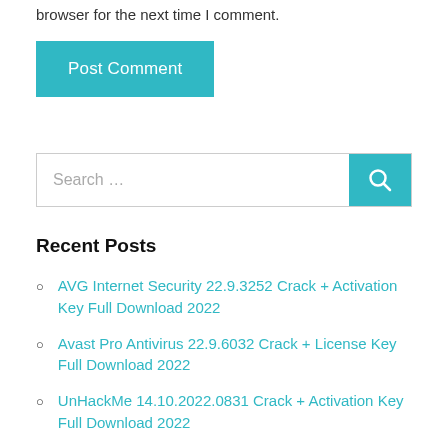browser for the next time I comment.
Post Comment
Search …
Recent Posts
AVG Internet Security 22.9.3252 Crack + Activation Key Full Download 2022
Avast Pro Antivirus 22.9.6032 Crack + License Key Full Download 2022
UnHackMe 14.10.2022.0831 Crack + Activation Key Full Download 2022
Honeycam 4.15 Crack + Activation Key Full